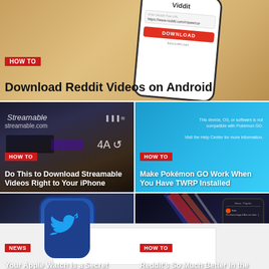[Figure (screenshot): Top card: phone showing Viddit app with reddit video download screen, warm blurred background]
HOW TO
Download Reddit Videos on Android
[Figure (screenshot): Streamable.com shown on device screen with dark background]
HOW TO
Do This to Download Streamable Videos Right to Your iPhone
[Figure (screenshot): Pokemon GO incompatibility screen shown on phone with blue background]
HOW TO
Make Pokémon GO Work When You Have TWRP Installed
[Figure (screenshot): Apple Watch with Twitter bird logo on blue watch face]
NEWS
Your Apple Watch Is a Secret Social Media Machine
[Figure (screenshot): Reddit dark mode shown on phone screen with light streaks]
HOW TO
Reddit's So Much Better in the Dark